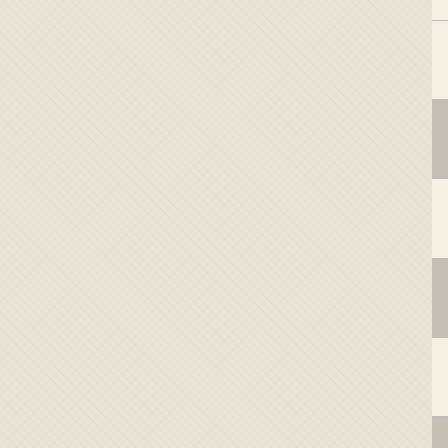|  | Accession | Gene | Description |
| --- | --- | --- | --- |
| ☐ | NC_008554 | Sfum_1637 | 2-C-methyl-D-erythritol 4-phosphate cytidylyltransferase |
| ☐ | NC_007498 | Pcar_0103 | 2-C-methyl-D-erythritol 4-phosphate cytidylyltransferase |
| ☐ | NC_011898 | Ccel_0342 | 2-C-methyl-D-erythritol 4-phosphate cytidylyltransferase |
| ☐ | NC_009483 | Gura_4163 | 2-C-methyl-D-erythritol 4-phosphate cytidylyltransferase |
| ☐ | NC_008261 | CPF_2739 | 2-C-methyl-D-erythritol 4-phosphate cytidylyltransferase |
| ☐ | NC_012918 | GM21_3880 | 2-C-methyl-D-erythritol 4-phosphate cytidylyltransferase |
| ☐ | NC_008262 | CPR_2426 | 2-C-methyl-D-erythritol 4-phosphate cytidylyltransferase |